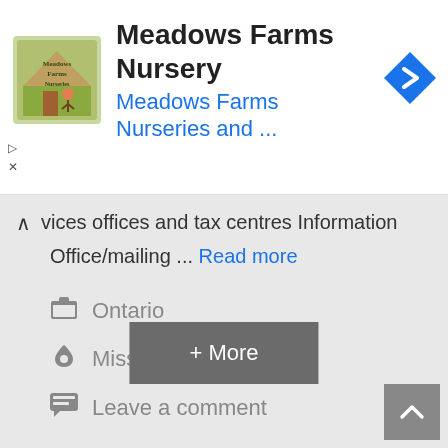[Figure (screenshot): Advertisement banner for Meadows Farms Nursery showing logo, title text, subtitle link, and navigation icon]
vices offices and tax centres Information Office/mailing ... Read more
Ontario
Mississauga
Leave a comment
+ More